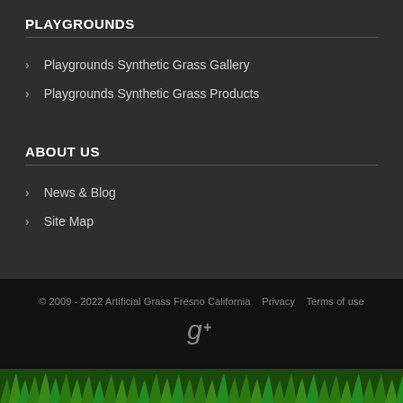PLAYGROUNDS
Playgrounds Synthetic Grass Gallery
Playgrounds Synthetic Grass Products
ABOUT US
News & Blog
Site Map
© 2009 - 2022 Artificial Grass Fresno California   Privacy   Terms of use
[Figure (logo): Google+ icon (g+)]
[Figure (photo): Strip of green grass at the bottom of the page]